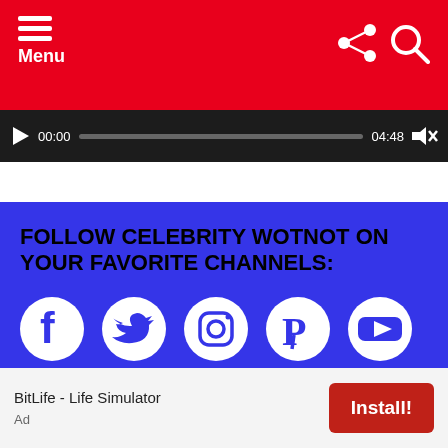Menu
[Figure (screenshot): Video player progress bar showing 00:00 current time and 04:48 total duration on dark background]
FOLLOW CELEBRITY WOTNOT ON YOUR FAVORITE CHANNELS:
[Figure (infographic): Social media icons: Facebook, Twitter, Instagram, Pinterest, YouTube - white icons on blue background]
FREE PICTURES
Many Images and videos contained on this website are FREE to use for personal, editorial, or educational use. Please check out the
BitLife - Life Simulator
Ad
Install!